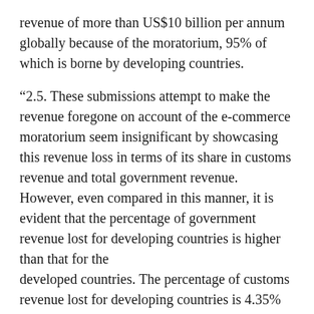revenue of more than US$10 billion per annum globally because of the moratorium, 95% of which is borne by developing countries.
“2.5. These submissions attempt to make the revenue foregone on account of the e-commerce moratorium seem insignificant by showcasing this revenue loss in terms of its share in customs revenue and total government revenue. However, even compared in this manner, it is evident that the percentage of government revenue lost for developing countries is higher than that for the developed countries. The percentage of customs revenue lost for developing countries is 4.35% while that for the developed countries is a mere 0.24%. It is evident that the cost of the moratorium is almost completely borne by the developing countries for extending duty free quota free market access, largely for the